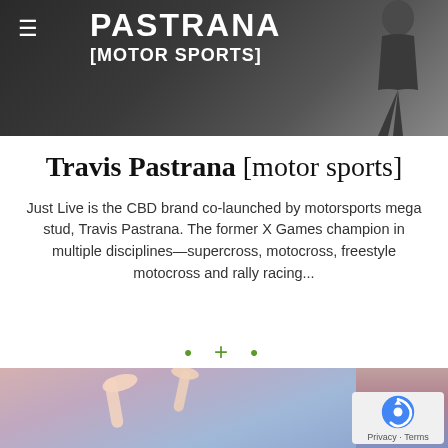[Figure (photo): Top banner image with dark background showing Travis Pastrana motorsports branding with silhouette figure, white text reading PASTRANA [MOTOR SPORTS] and hamburger menu icon]
Travis Pastrana [motor sports]
Just Live is the CBD brand co-launched by motorsports mega stud, Travis Pastrana. The former X Games champion in multiple disciplines—supercross, motocross, freestyle motocross and rally racing...
[Figure (other): Green dot plus dot navigation/indicator row: • + •]
[Figure (photo): Bottom photo showing raised hands with blurred colorful background, partially visible. Privacy - Terms badge in bottom right corner.]